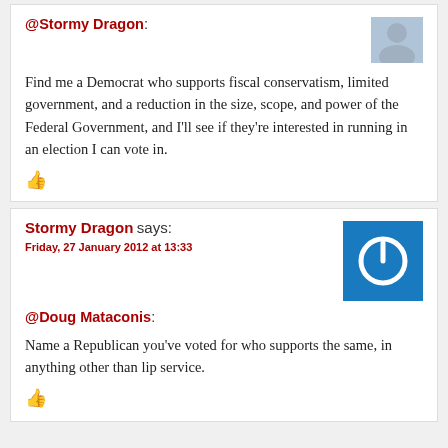@Stormy Dragon:
Find me a Democrat who supports fiscal conservatism, limited government, and a reduction in the size, scope, and power of the Federal Government, and I'll see if they're interested in running in an election I can vote in.
Stormy Dragon says: Friday, 27 January 2012 at 13:33
@Doug Mataconis:
Name a Republican you've voted for who supports the same, in anything other than lip service.